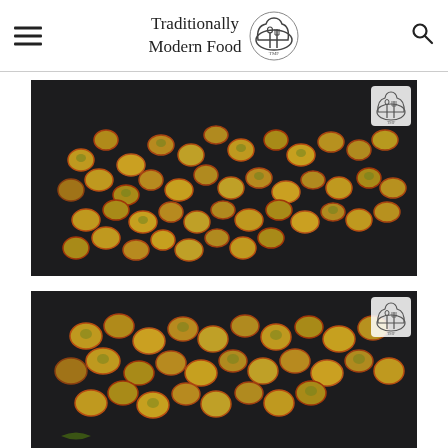Traditionally Modern Food
[Figure (photo): Spiced green peas or field beans coated in turmeric and red chili powder, sautéed in a dark pan, viewed from above]
[Figure (photo): Same spiced green peas or field beans sautéed in a dark pan, second cooking step, partial view]